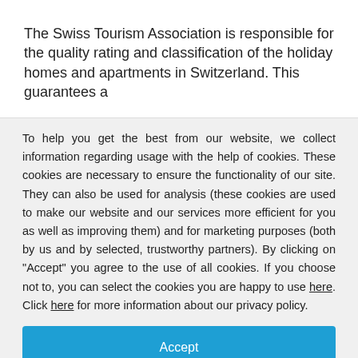The Swiss Tourism Association is responsible for the quality rating and classification of the holiday homes and apartments in Switzerland. This guarantees a
To help you get the best from our website, we collect information regarding usage with the help of cookies. These cookies are necessary to ensure the functionality of our site. They can also be used for analysis (these cookies are used to make our website and our services more efficient for you as well as improving them) and for marketing purposes (both by us and by selected, trustworthy partners). By clicking on "Accept" you agree to the use of all cookies. If you choose not to, you can select the cookies you are happy to use here. Click here for more information about our privacy policy.
Accept
Decline
Configure